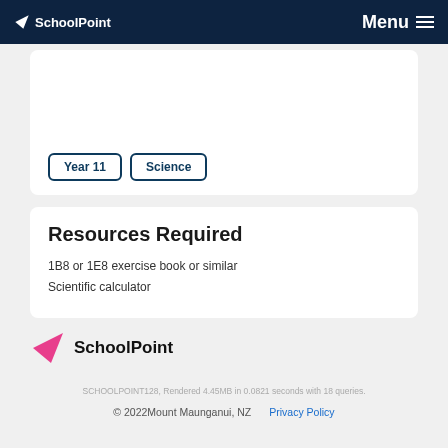SchoolPoint  Menu
Year 11  Science
Resources Required
1B8 or 1E8 exercise book or similar
Scientific calculator
[Figure (logo): SchoolPoint logo with pink arrow icon and black text]
SCHOOLPOINT128, Rendered 4.45MB in 0.0821 seconds with 18 queries.
© 2022Mount Maunganui, NZ  Privacy Policy